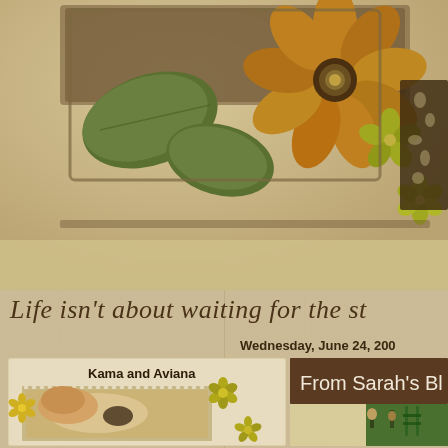[Figure (photo): Decorative header with large brown/golden flower, green leaves, yellow-green flowers on right, dark ornamental metalwork, on parchment background]
Life isn't about waiting for the st
Wednesday, June 24, 200
[Figure (photo): Left panel showing 'Kama and Aviana' - photo of a dog and child together, framed with decorative stamp-like border and yellow flower embellishments]
[Figure (photo): Right panel header 'From Sarah's Bl' with brown background, and photo of people on playground equipment]